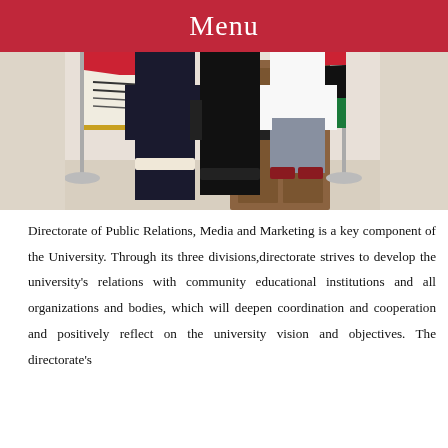Menu
[Figure (photo): Three people standing in front of flags including a university flag and Syrian flag in an indoor setting]
Directorate of Public Relations, Media and Marketing is a key component of the University. Through its three divisions,directorate strives to develop the university's relations with community educational institutions and all organizations and bodies, which will deepen coordination and cooperation and positively reflect on the university vision and objectives. The directorate's